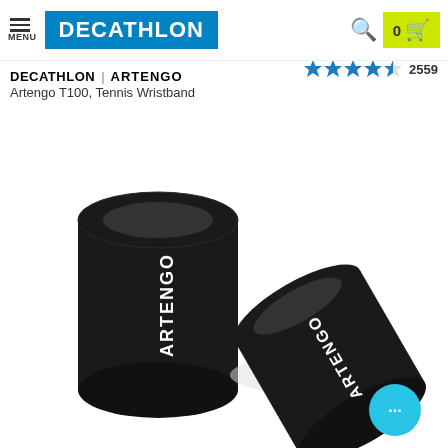MENU | DECATHLON | 0 (cart)
DECATHLON | ARTENGO
Artengo T100, Tennis Wristband
★★★★☆ 2559
[Figure (photo): Two black ARTENGO branded tennis wristbands on a white background]